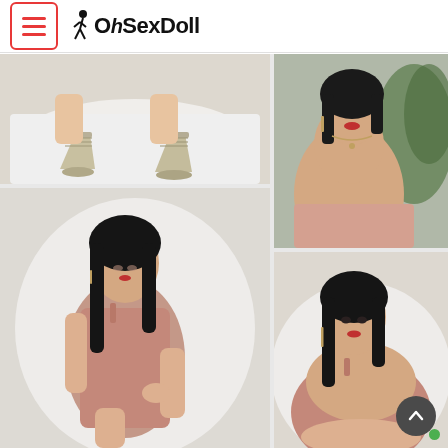OhSexDoll — website header with menu icon and logo
[Figure (photo): Photo of doll legs/feet wearing glittery high-heel sandals on white fabric backdrop]
[Figure (photo): Photo of doll upper body/chest wearing pink fabric, near green plant]
[Figure (photo): Full-body photo of doll with black hair wearing pink mini dress, seated on white backdrop]
[Figure (photo): Close-up photo of doll face and torso with black hair, pink dress, on white backdrop]
[Figure (photo): Partial photo at bottom right, appears to show foliage/plant background]